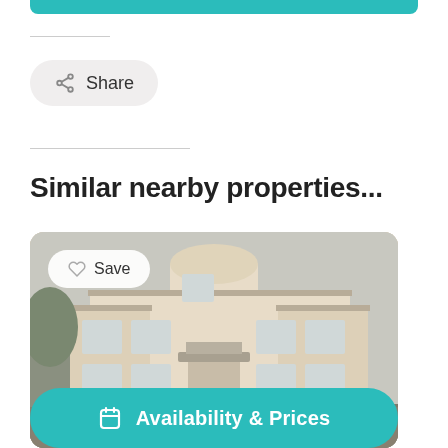[Figure (screenshot): Teal navigation bar at top of page]
Share
Similar nearby properties...
[Figure (photo): Exterior photo of a cream/beige two-storey holiday home with a Save button overlay and Availability & Prices button at bottom]